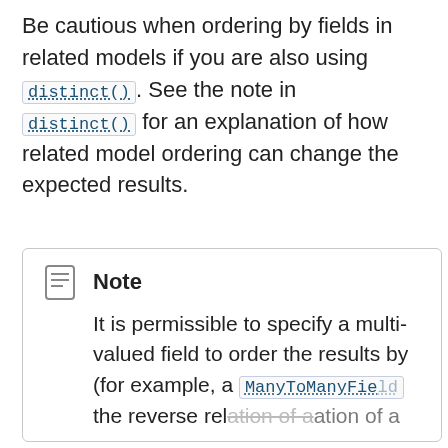Be cautious when ordering by fields in related models if you are also using distinct(). See the note in distinct() for an explanation of how related model ordering can change the expected results.
Note
It is permissible to specify a multi-valued field to order the results by (for example, a ManyToManyFie... the reverse relation of a ...
Language: en
Documentation version: 2.2